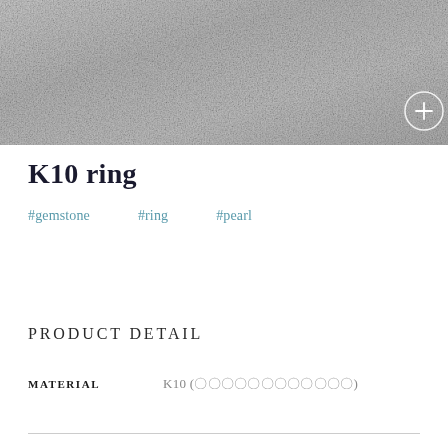[Figure (photo): Gray textured background image with a circular plus button in the bottom-right corner]
K10 ring
#gemstone   #ring   #pearl
PRODUCT DETAIL
| MATERIAL | Value |
| --- | --- |
| MATERIAL | K10 (〇〇〇〇〇〇〇〇〇〇〇〇) |